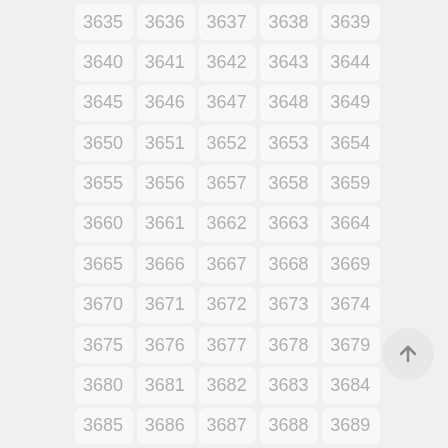[Figure (other): A grid of numbered tiles from 3635 to 3689, arranged in 5 columns and 11 rows. Each tile is a light gray rounded rectangle with a number in gray text. A circular floating action button with an upward arrow is positioned at the bottom right.]